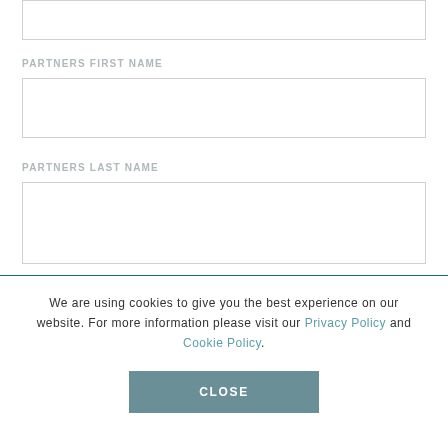[Figure (other): Partially visible text input field at top of page]
PARTNERS FIRST NAME
[Figure (other): Empty text input field for Partners First Name]
PARTNERS LAST NAME
[Figure (other): Empty text input field for Partners Last Name]
We are using cookies to give you the best experience on our website. For more information please visit our Privacy Policy and Cookie Policy.
CLOSE